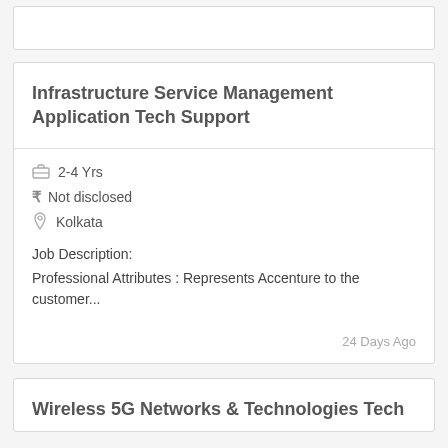Infrastructure Service Management Application Tech Support
2-4 Yrs
Not disclosed
Kolkata
Job Description:
Professional Attributes : Represents Accenture to the customer...
24 Days Ago
Wireless 5G Networks & Technologies Tech